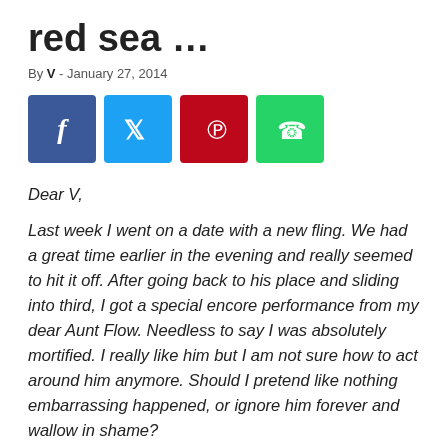red sea …
By V - January 27, 2014
[Figure (other): Social media share buttons: Facebook (blue), Twitter (cyan), Pinterest (red), WhatsApp (green)]
Dear V,
Last week I went on a date with a new fling. We had a great time earlier in the evening and really seemed to hit it off. After going back to his place and sliding into third, I got a special encore performance from my dear Aunt Flow. Needless to say I was absolutely mortified. I really like him but I am not sure how to act around him anymore. Should I pretend like nothing embarrassing happened, or ignore him forever and wallow in shame?
Help,